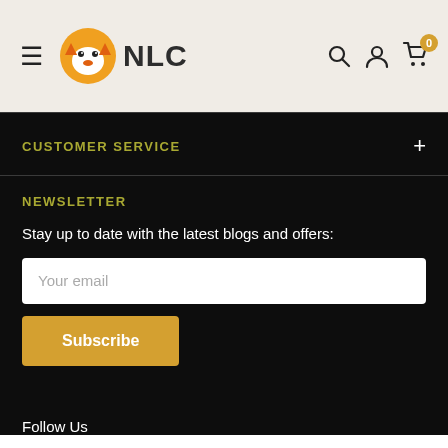[Figure (logo): NLC brand logo with orange fox icon and bold NLC text]
CUSTOMER SERVICE
NEWSLETTER
Stay up to date with the latest blogs and offers:
Your email
Subscribe
Follow Us